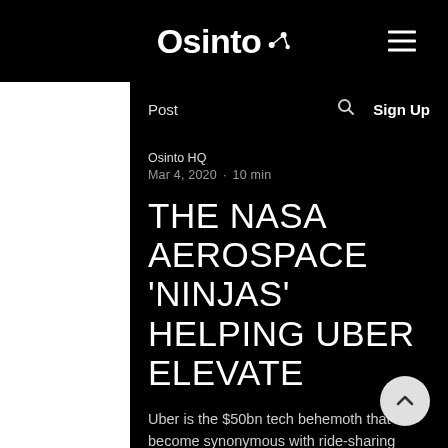Osinto [logo] | [hamburger menu]
Post | [search icon] | Sign Up
Osinto HQ
Mar 4, 2020 · 10 min
THE NASA AEROSPACE 'NINJAS' HELPING UBER ELEVATE
Uber is the $50bn tech behemoth that's become synonymous with ride-sharing worldwide but their ambitions extend far beyond just providing cars on-demand. The company have run a series of test projects over the years enabling riders to